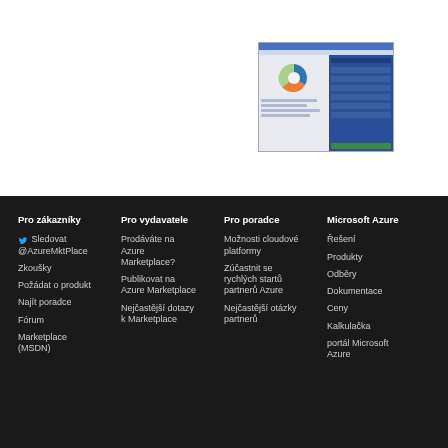[Figure (screenshot): Screenshot of a web dashboard with a donut/pie chart on the left and a dark blue data panel on the right, inside a browser window frame.]
Pro zákazníky
Pro vydavatele
Pro poradce
Microsoft Azure
Sledovat @AzureMktPlace
Zkoušky
Požádat o produkt
Najít poradce
Fórum
Marketplace (MSDN)
Prodáváte na Azure Marketplace?
Publikovat na Azure Marketplace
Nejčastější dotazy k Marketplace
Možnosti cloudové platformy
Zúčastnit se rychlých startů partnerů Azure
Nejčastější otázky partnerů
Řešení
Produkty
Odběry
Dokumentace
Ceny
Kalkulačka
portál Microsoft Azure